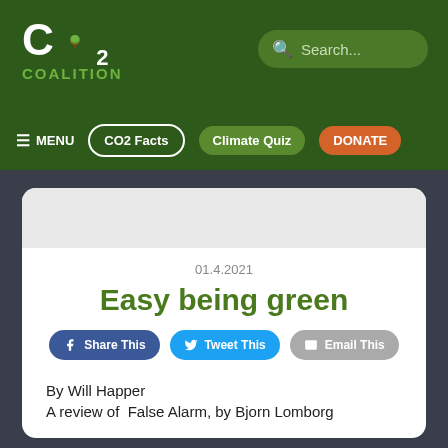[Figure (logo): CO2 Coalition logo with tree icon and green COALITION text]
Search...
≡ MENU  CO2 Facts  Climate Quiz  DONATE
01.4.2021
Easy being green
Share This  Tweet This  Email This
By Will Happer
A review of  False Alarm, by Bjorn Lomborg